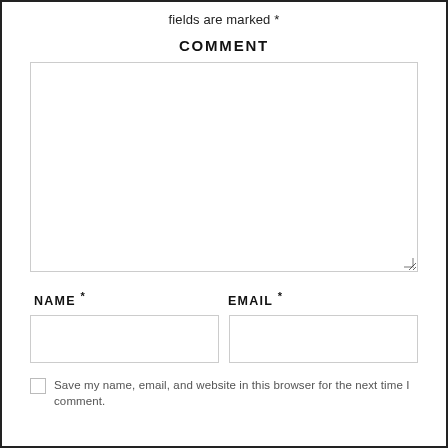fields are marked *
COMMENT
[Figure (other): Large empty textarea input box for comment entry]
NAME *
EMAIL *
[Figure (other): Two empty text input boxes side by side for Name and Email]
Save my name, email, and website in this browser for the next time I comment.